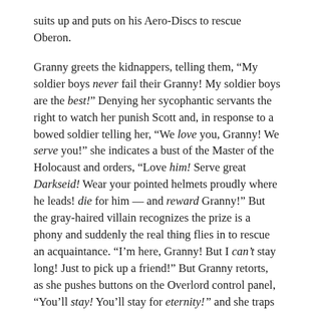suits up and puts on his Aero-Discs to rescue Oberon.
Granny greets the kidnappers, telling them, “My soldier boys never fail their Granny! My soldier boys are the best!” Denying her sycophantic servants the right to watch her punish Scott and, in response to a bowed soldier telling her, “We love you, Granny! We serve you!” she indicates a bust of the Master of the Holocaust and orders, “Love him! Serve great Darkseid! Wear your pointed helmets proudly where he leads! die for him — and reward Granny!” But the gray-haired villain recognizes the prize is a phony and suddenly the real thing flies in to rescue an acquaintance. “I’m here, Granny! But I can’t stay long! Just to pick up a friend!” But Granny retorts, as she pushes buttons on the Overlord control panel, “You’ll stay! You’ll stay for eternity!” and she traps Mister Miracle and Oberon in the X-Pit.
We’ll discuss this particular death machination in an entry to follow, but it’s important to note that Scott Free figured out